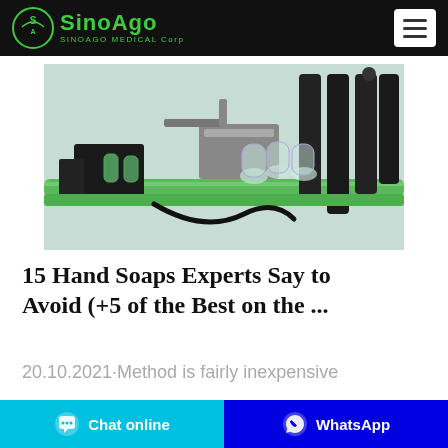SinoAgo SINOAGO MEDICAL Corp
[Figure (photo): Industrial bottling/labeling machine with green rollers, black cylindrical components, and clear glass bottles on a conveyor line]
15 Hand Soaps Experts Say to Avoid (+5 of the Best on the ...
20.10.2021·Method is fairly inexpensive
Chat online   WhatsApp